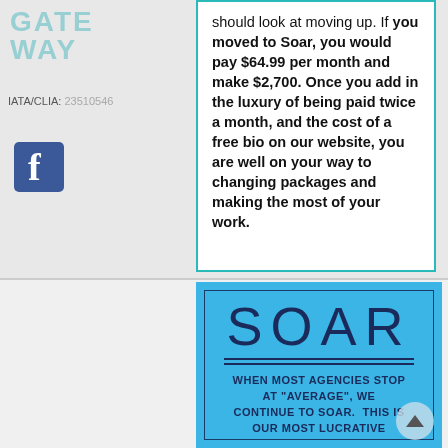[Figure (logo): Gateway Travel logo watermark in teal, partially visible top-left]
IATA/CLIA: 23510546
should look at moving up. If you moved to Soar, you would pay $64.99 per month and make $2,700. Once you add in the luxury of being paid twice a month, and the cost of a free bio on our website, you are well on your way to changing packages and making the most of your work.
[Figure (infographic): Blue box with inner dark border containing large text SOAR, double rule lines, and subtitle text: WHEN MOST AGENCIES STOP AT "AVERAGE", WE CONTINUE TO SOAR. THIS IS OUR MOST LUCRATIVE]